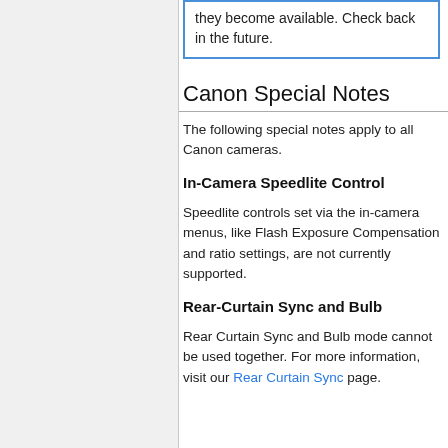they become available. Check back in the future.
Canon Special Notes
The following special notes apply to all Canon cameras.
In-Camera Speedlite Control
Speedlite controls set via the in-camera menus, like Flash Exposure Compensation and ratio settings, are not currently supported.
Rear-Curtain Sync and Bulb
Rear Curtain Sync and Bulb mode cannot be used together. For more information, visit our Rear Curtain Sync page.